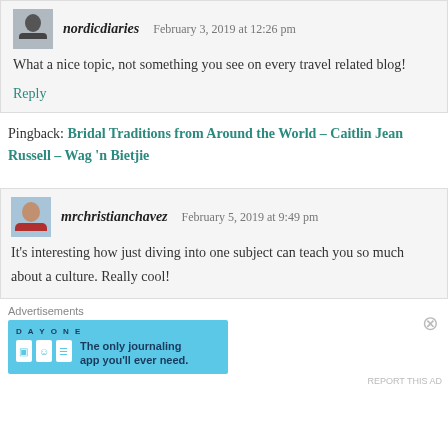[Figure (photo): Small avatar thumbnail of nordicdiaries user, dark silhouette against outdoor background]
nordicdiaries   February 3, 2019 at 12:26 pm
What a nice topic, not something you see on every travel related blog!
Reply
Pingback: Bridal Traditions from Around the World – Caitlin Jean Russell – Wag 'n Bietjie
[Figure (photo): Small avatar thumbnail of mrchristianchavez user, woman with outdoor background]
mrchristianchavez   February 5, 2019 at 9:49 pm
It's interesting how just diving into one subject can teach you so much about a culture. Really cool!
Advertisements
[Figure (screenshot): Advertisement banner for DAY ONE journaling app with text: The only journaling app you'll ever need.]